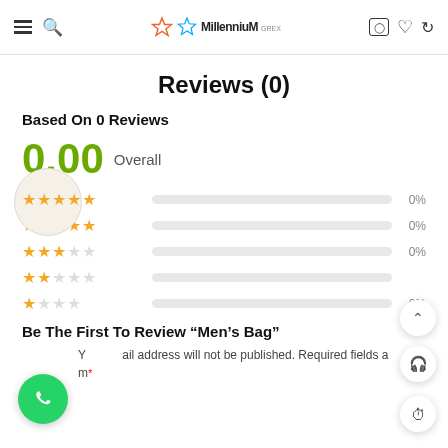Millennium GREX (logo with navigation icons)
Reviews (0)
Based On 0 Reviews
0.00 Overall
[Figure (infographic): Star rating breakdown: 5 stars 0%, 4 stars 0%, 3 stars 0%, 2 stars 0%, 1 star 0% with progress bars]
Be The First To Review “Men’s Bag”
Your email address will not be published. Required fields are marked *